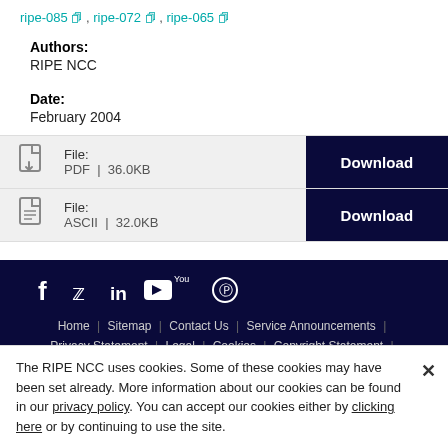ripe-085 , ripe-072 , ripe-065
Authors:
RIPE NCC
Date:
February 2004
File: PDF | 36.0KB Download
File: ASCII | 32.0KB Download
Home | Sitemap | Contact Us | Service Announcements | Privacy Statement | Legal | Cookies | Copyright Statement |
The RIPE NCC uses cookies. Some of these cookies may have been set already. More information about our cookies can be found in our privacy policy. You can accept our cookies either by clicking here or by continuing to use the site.